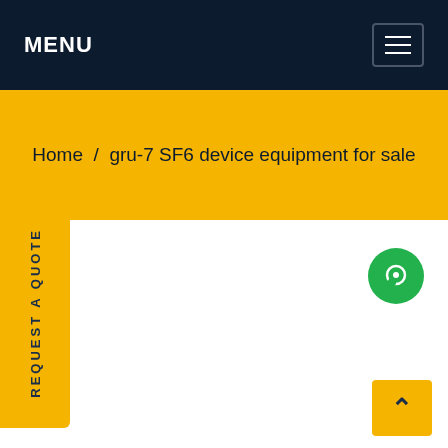MENU
Home / gru-7 SF6 device equipment for sale
[Figure (screenshot): White content area with a green chat button on the right side]
REQUEST A QUOTE
[Figure (other): Yellow back-to-top button with upward chevron arrow]